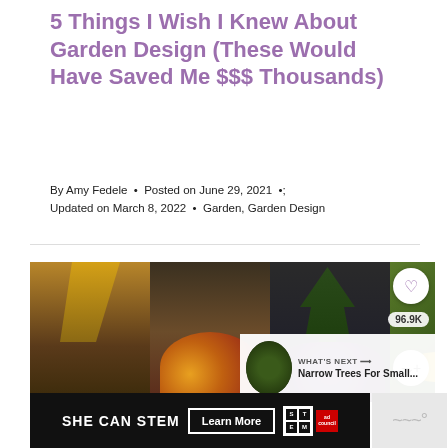5 Things I Wish I Knew About Garden Design (These Would Have Saved Me $$$ Thousands)
By Amy Fedele • Posted on June 29, 2021 • Updated on March 8, 2022 • Garden, Garden Design
[Figure (photo): Collage of garden photos showing ornamental grasses, flowering plants, conifer tree with purple plants, and garden foliage with yellow flowers. Includes a heart/save button showing 96.9K saves, a share button, and a 'What's Next' overlay for 'Narrow Trees For Small...']
[Figure (screenshot): Advertisement banner: SHE CAN STEM with Learn More button, STEM logo grid, ad council logo]